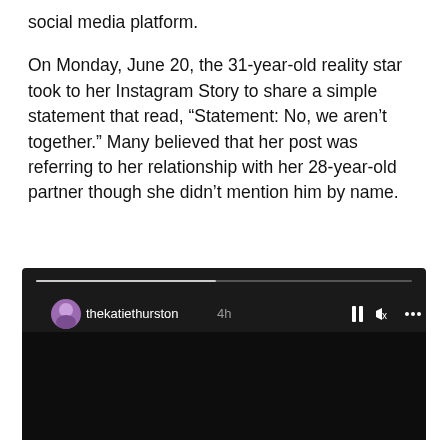social media platform.
On Monday, June 20, the 31-year-old reality star took to her Instagram Story to share a simple statement that read, “Statement: No, we aren’t together.” Many believed that her post was referring to her relationship with her 28-year-old partner though she didn’t mention him by name.
[Figure (screenshot): A dark-themed video player screenshot showing an Instagram Story from user 'thekatiethurston', posted 4 hours ago. The video content area is mostly black. Controls include a progress bar at the top, pause icon, mute/sound icon, and more options icon.]